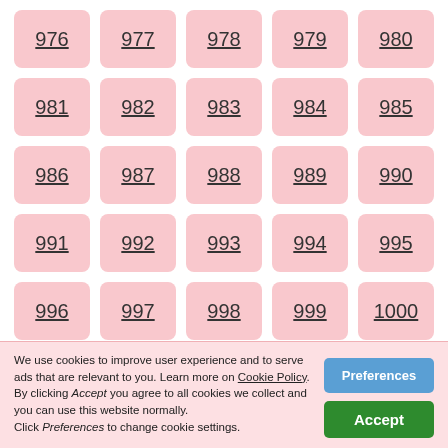976
977
978
979
980
981
982
983
984
985
986
987
988
989
990
991
992
993
994
995
996
997
998
999
1000
We use cookies to improve user experience and to serve ads that are relevant to you. Learn more on Cookie Policy. By clicking Accept you agree to all cookies we collect and you can use this website normally. Click Preferences to change cookie settings.